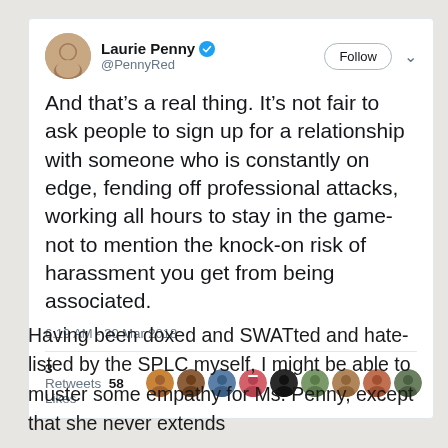[Figure (screenshot): Tweet screenshot from Laurie Penny (@PennyRed) with verified badge, Follow button, tweet text about relationships and harassment, timestamp 6:19 AM - 30 Mar 2018, 3 Retweets 58 Likes with avatar row]
Having been doxed and SWATted and hate-listed by the SPLC myself, I might be able to muster some empathy for Ms. Penny, except that she never extends